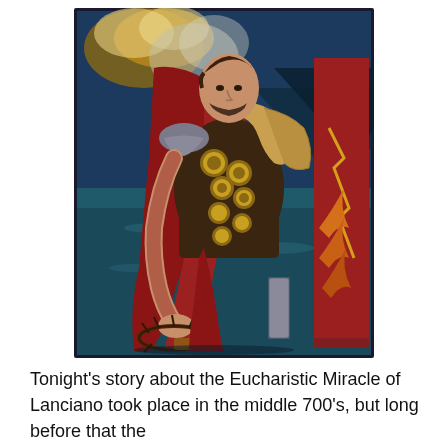[Figure (illustration): A dramatic painted illustration of a Roman soldier in full armor, wearing a red cape and decorated breastplate with gold medallions, kneeling and holding a crown of thorns. The background shows a stormy seascape with dark clouds and fire. The soldier has a beard and looks downward solemnly. There is a decorated red banner/standard on the right side.]
Tonight's story about the Eucharistic Miracle of Lanciano took place in the middle 700's, but long before that the